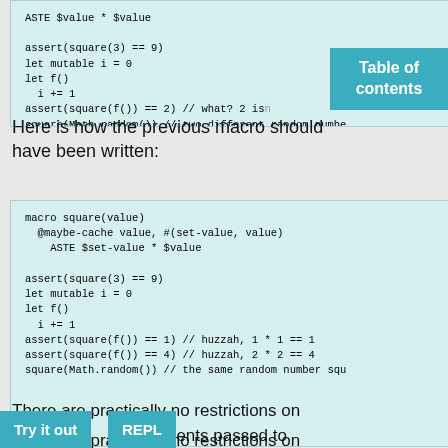[Figure (screenshot): Code block (top, partially visible): ASTE $value * $value, assert(square(3) == 9), let mutable i = 0, let f(), i += 1, assert(square(f()) == 2) // what? 2 is..., square(Math.random()) // two different random numbe...]
Here is how the previous macro should have been written:
[Figure (screenshot): Code block: macro square(value)
  @maybe-cache value, #(set-value, value)
    ASTE $set-value * $value

assert(square(3) == 9)
let mutable i = 0
let f()
  i += 1
assert(square(f()) == 1) // huzzah, 1 * 1 == 1
assert(square(f()) == 4) // huzzah, 2 * 2 == 4
square(Math.random()) // the same random number squ...]
There are practically no restrictions on how the arguments passed to